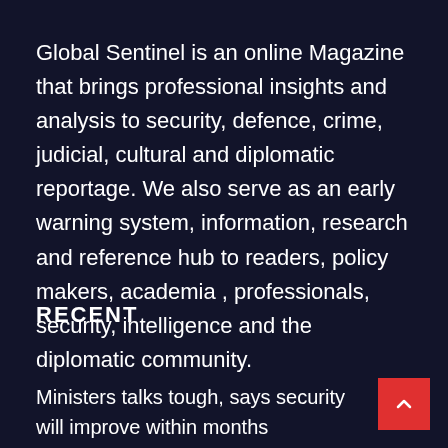Global Sentinel is an online Magazine that brings professional insights and analysis to security, defence, crime, judicial, cultural and diplomatic reportage. We also serve as an early warning system, information, research and reference hub to readers, policy makers, academia , professionals, security, intelligence and the diplomatic community.
RECENT
Ministers talks tough, says security will improve within months